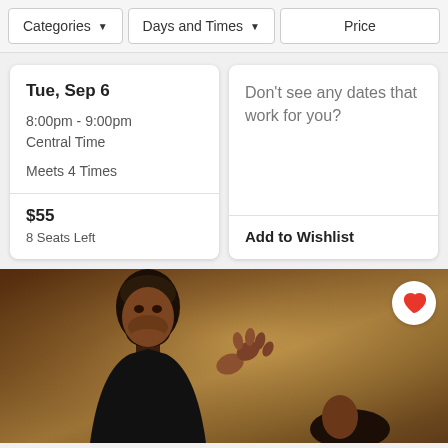Categories ▾   Days and Times ▾   Price
Tue, Sep 6
8:00pm - 9:00pm Central Time
Meets 4 Times
$55
8 Seats Left
Don't see any dates that work for you?
Add to Wishlist
[Figure (photo): Photo of a male dancer looking upward with a female dancer's hands visible, set against a warm brown background]